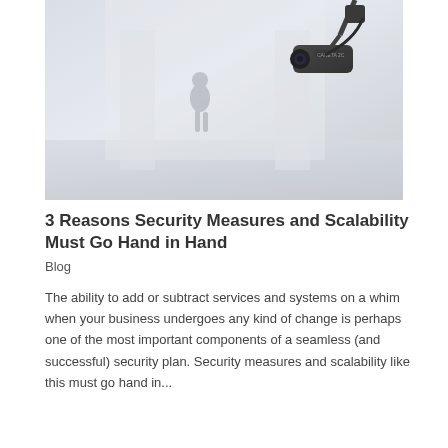[Figure (photo): A security camera mounted at ceiling level, pointing down in a white/light grey corridor. A blurred person silhouette is visible in the background walking away.]
3 Reasons Security Measures and Scalability Must Go Hand in Hand
Blog
The ability to add or subtract services and systems on a whim when your business undergoes any kind of change is perhaps one of the most important components of a seamless (and successful) security plan. Security measures and scalability like this must go hand in...